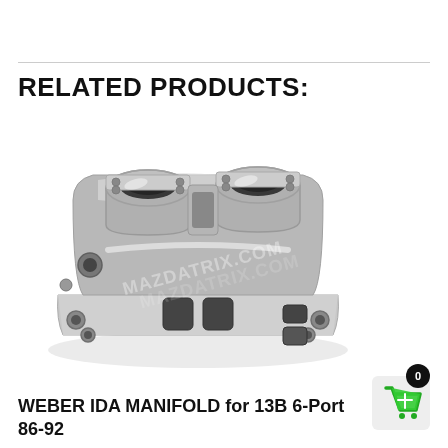RELATED PRODUCTS:
[Figure (photo): A polished aluminum Weber IDA intake manifold for a 13B rotary engine, showing two carburetor mounting pads on top and a rotary engine mounting flange on the bottom. The manifold has multiple ports and mounting holes. Watermark reads MAZDATRIX.COM]
WEBER IDA MANIFOLD for 13B 6-Port 86-92